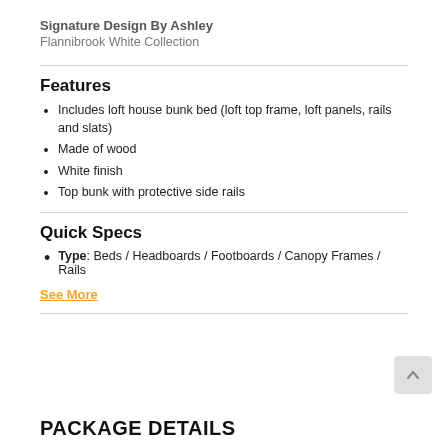Signature Design By Ashley
Flannibrook White Collection
Features
Includes loft house bunk bed (loft top frame, loft panels, rails and slats)
Made of wood
White finish
Top bunk with protective side rails
Quick Specs
Type: Beds / Headboards / Footboards / Canopy Frames / Rails
See More
PACKAGE DETAILS